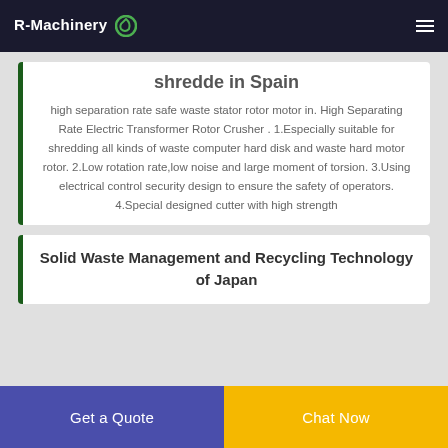R-Machinery
shredde in Spain
high separation rate safe waste stator rotor motor in. High Separating Rate Electric Transformer Rotor Crusher . 1.Especially suitable for shredding all kinds of waste computer hard disk and waste hard motor rotor. 2.Low rotation rate,low noise and large moment of torsion. 3.Using electrical control security design to ensure the safety of operators. 4.Special designed cutter with high strength
Solid Waste Management and Recycling Technology of Japan